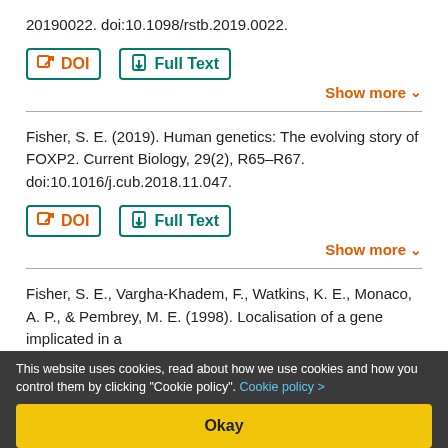20190022. doi:10.1098/rstb.2019.0022.
DOI   Full Text
Show more
Fisher, S. E. (2019). Human genetics: The evolving story of FOXP2. Current Biology, 29(2), R65–R67. doi:10.1016/j.cub.2018.11.047.
DOI   Full Text
Show more
Fisher, S. E., Vargha-Khadem, F., Watkins, K. E., Monaco, A. P., & Pembrey, M. E. (1998). Localisation of a gene implicated in a
This website uses cookies, read about how we use cookies and how you control them by clicking "Cookie policy". Cookie policy >
Okay